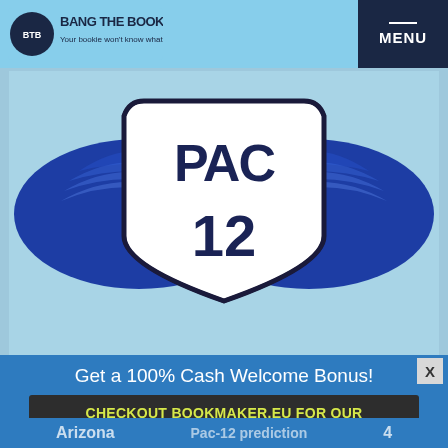Bang The Book - MENU
[Figure (logo): PAC-12 conference logo with blue wing-eye design on light blue background]
Get a 100% Cash Welcome Bonus!
CHECKOUT BOOKMAKER.EU FOR OUR EXCLUSIVE BTB BONUS
Arizona Pac-12 prediction (partially visible)